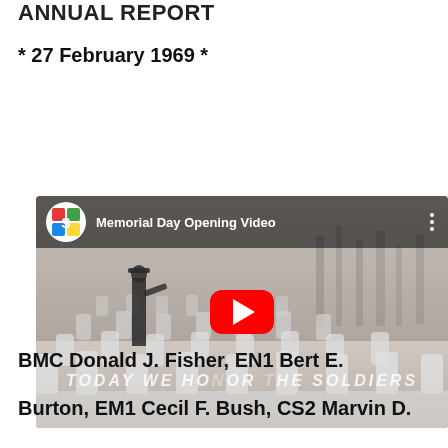ANNUAL REPORT
* 27 February 1969 *
[Figure (screenshot): YouTube video thumbnail titled 'Memorial Day Opening Video' showing a military figure standing in a cemetery with white grave markers, with a red YouTube play button overlay and text 'TODAY WE HONOR THE SOLDIERS' across the bottom portion.]
BMC Donald J. Fisher, EN1 Bert E. Burton, EM1 Cecil F. Bush, CS2 Marvin D.